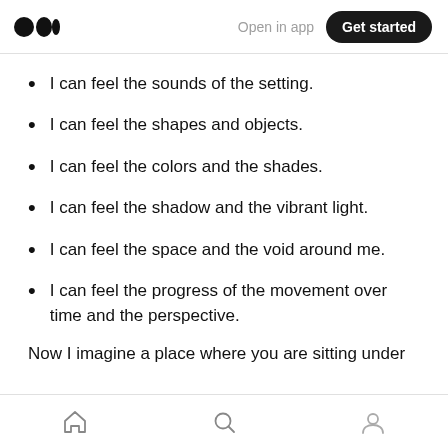Open in app | Get started
I can feel the sounds of the setting.
I can feel the shapes and objects.
I can feel the colors and the shades.
I can feel the shadow and the vibrant light.
I can feel the space and the void around me.
I can feel the progress of the movement over time and the perspective.
Now I imagine a place where you are sitting under
Home | Search | Profile